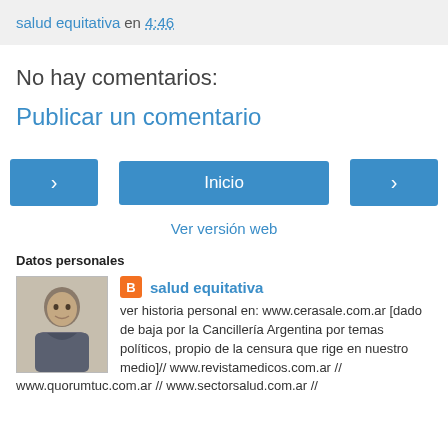salud equitativa en 4:46
No hay comentarios:
Publicar un comentario
‹  Inicio  ›  Ver versión web
Datos personales
salud equitativa
ver historia personal en: www.cerasale.com.ar [dado de baja por la Cancillería Argentina por temas políticos, propio de la censura que rige en nuestro medio]// www.revistamedicos.com.ar // www.quorumtuc.com.ar // www.sectorsalud.com.ar //